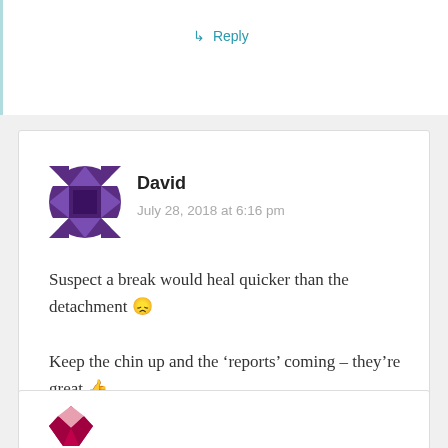↳ Reply
David
July 28, 2018 at 6:16 pm
Suspect a break would heal quicker than the detachment 😕 Keep the chin up and the 'reports' coming – they're great 👍
Like
Reply